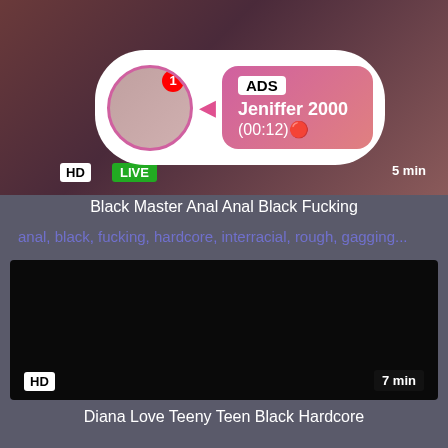[Figure (screenshot): Top video thumbnail with dark reddish background, HD badge, LIVE badge, 5 min duration, and ADS popup overlay showing Jeniffer 2000 with avatar, notification badge, and timer (00:12)]
Black Master Anal Anal Black Fucking
anal, black, fucking, hardcore, interracial, rough, gagging...
[Figure (screenshot): Bottom video thumbnail showing black/dark background with HD badge and 7 min duration label]
Diana Love Teeny Teen Black Hardcore